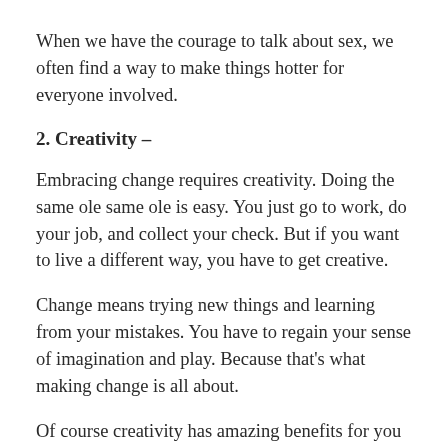When we have the courage to talk about sex, we often find a way to make things hotter for everyone involved.
2. Creativity –
Embracing change requires creativity. Doing the same ole same ole is easy. You just go to work, do your job, and collect your check. But if you want to live a different way, you have to get creative.
Change means trying new things and learning from your mistakes. You have to regain your sense of imagination and play. Because that's what making change is all about.
Of course creativity has amazing benefits for you as a